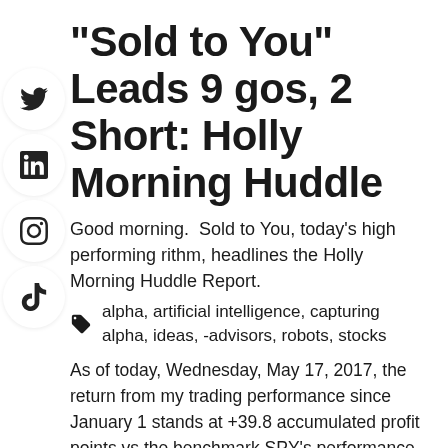“Sold to You” Leads 9 gos, 2 Short: Holly Morning Huddle
Good morning.  Sold to You, today’s high performing rithm, headlines the Holly Morning Huddle Report.
alpha, artificial intelligence, capturing alpha, ideas, -advisors, robots, stocks
As of today, Wednesday, May 17, 2017, the return from my trading performance since January 1 stands at +39.8 accumulated profit points vs the benchmark SPY’s performance of +16.5 points over the same period. On Tuesday my performance was higher +.8 in Risk-Off mode (shown above). Risk-Off mode is where trades are not extended and exits are bounded by predetermined